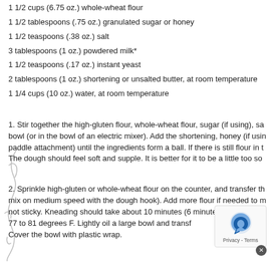1 1/2 cups (6.75 oz.) whole-wheat flour
1 1/2 tablespoons (.75 oz.) granulated sugar or honey
1 1/2 teaspoons (.38 oz.) salt
3 tablespoons (1 oz.) powdered milk*
1 1/2 teaspoons (.17 oz.) instant yeast
2 tablespoons (1 oz.) shortening or unsalted butter, at room temperature
1 1/4 cups (10 oz.) water, at room temperature
1. Stir together the high-gluten flour, whole-wheat flour, sugar (if using), sa bowl (or in the bowl of an electric mixer). Add the shortening, honey (if usin paddle attachment) until the ingredients form a ball. If there is still flour in t The dough should feel soft and supple. It is better for it to be a little too so
2. Sprinkle high-gluten or whole-wheat flour on the counter, and transfer th mix on medium speed with the dough hook). Add more flour if needed to m not sticky. Kneading should take about 10 minutes (6 minutes i registers 77 to 81 degrees F. Lightly oil a large bowl and transf Cover the bowl with plastic wrap.